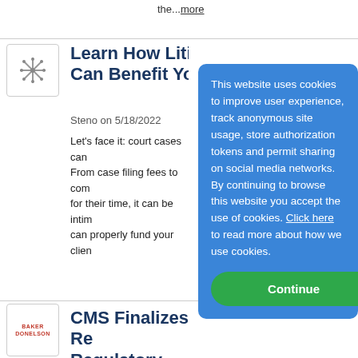the...more
Learn How Litiga Can Benefit You
Steno on 5/18/2022
Let's face it: court cases can From case filing fees to com for their time, it can be intim can properly fund your clien
CMS Finalizes Re Regulatory Defi "Reasonable An
Baker Donelson on 12/24/20
The Centers for Medicare & issued a Final Rule on Nove 2021 Final Rule) repealing its regulatory definition of "reasonable and necessary," which had previously been
This website uses cookies to improve user experience, track anonymous site usage, store authorization tokens and permit sharing on social media networks. By continuing to browse this website you accept the use of cookies. Click here to read more about how we use cookies.
Continue